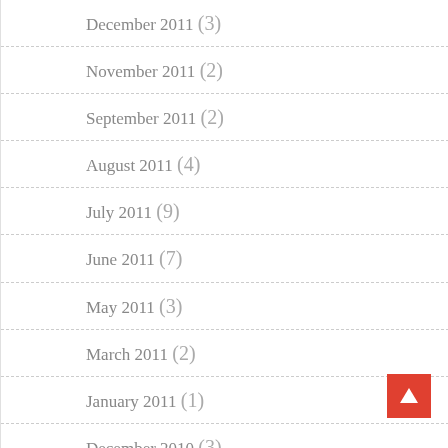December 2011 (3)
November 2011 (2)
September 2011 (2)
August 2011 (4)
July 2011 (9)
June 2011 (7)
May 2011 (3)
March 2011 (2)
January 2011 (1)
December 2010 (3)
November 2010 (1)
October 2010 (2)
September 2010 (5)